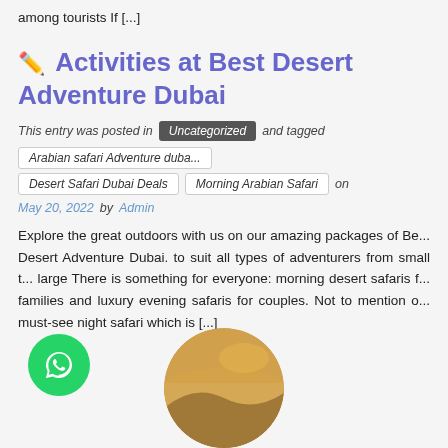among tourists If [...]
Activities at Best Desert Adventure Dubai
This entry was posted in Uncategorized and tagged Arabian safari Adventure duba... Desert Safari Dubai Deals Morning Arabian Safari on May 20, 2022 by Admin
Explore the great outdoors with us on our amazing packages of Be... Desert Adventure Dubai. to suit all types of adventurers from small t... large There is something for everyone: morning desert safaris f... families and luxury evening safaris for couples. Not to mention o... must-see night safari which is [...]
[Figure (photo): Circular photo of desert landscape with sandy dunes under golden sky]